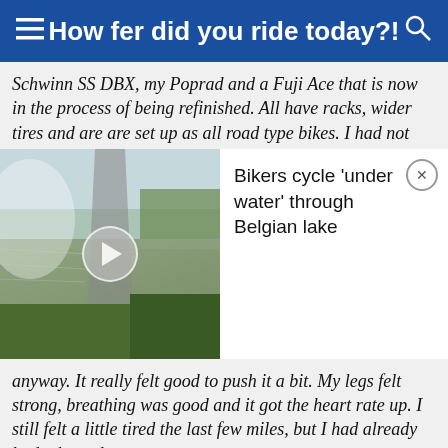How fer did you ride today?!
Schwinn SS DBX, my Poprad and a Fuji Ace that is now in the process of being refinished. All have racks, wider tires and are are set up as all road type bikes. I had not
[Figure (photo): Video thumbnail showing a road over a body of water surrounded by trees, with a play button overlay. Adjacent popup with text: Bikers cycle 'under water' through Belgian lake]
anyway. It really felt good to push it a bit. My legs felt strong, breathing was good and it got the heart rate up. I still felt a little tired the last few miles, but I had already had a busy day.

I have more appreciation for more casual, slower paced rides these days. But today, I found that I still get a big grin and that feeling of being kid-like when riding a bike that just makes me feel like I want, need to go fast. My two bikes that do that to me are the Tourmalet and my